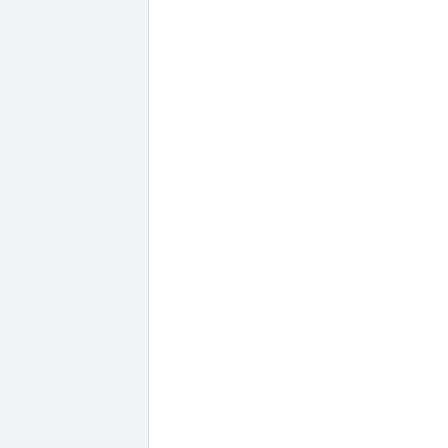c.s.s.s.g.s.GoogleScraper - GET https://www.google.fr/search?q=billets+ … lle&num=15 via proxy:http://178.32.87.230:3128/ try 1 [2016-01-27 09:40:15,962] [google-2] DEBUG c.s.s.s.g.s.GoogleScraper - GET https://www.google.fr/search?q=tickets+ … 5&start=30